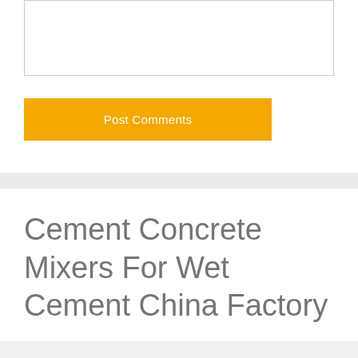[Figure (screenshot): Comment text area input box, empty, with light grey border]
Post Comments
Cement Concrete Mixers For Wet Cement China Factory